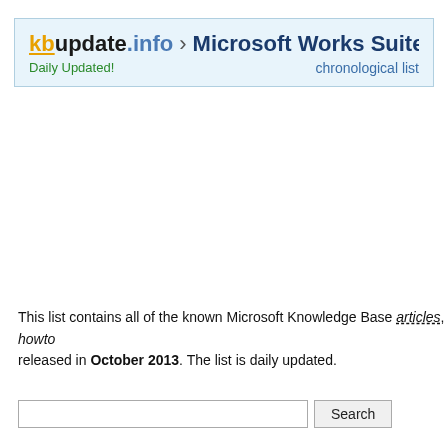kbupdate.info › Microsoft Works Suite 2001 a — Daily Updated! — chronological list
This list contains all of the known Microsoft Knowledge Base articles, howto released in October 2013. The list is daily updated.